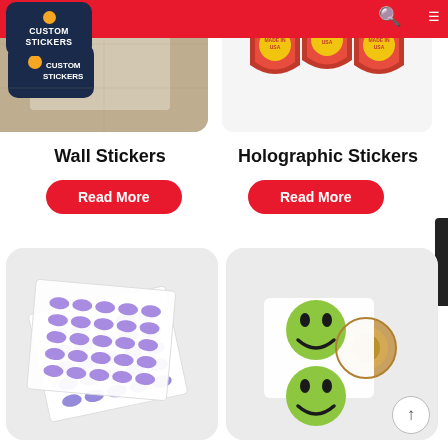Custom Stickers website navigation bar with logo, search, and menu icons
[Figure (photo): Top-left product image: wall sticker applied to a wall surface, partially cropped, with Custom Stickers logo overlay]
[Figure (photo): Top-right product image: holographic red and gold shield-shaped stickers on white background]
Wall Stickers
Holographic Stickers
Read More
Read More
[Figure (photo): Bottom-left product image: sheets of small oval blue/purple stickers arranged in a grid pattern]
[Figure (photo): Bottom-right product image: a roll of green smiley face stickers on white tape roll]